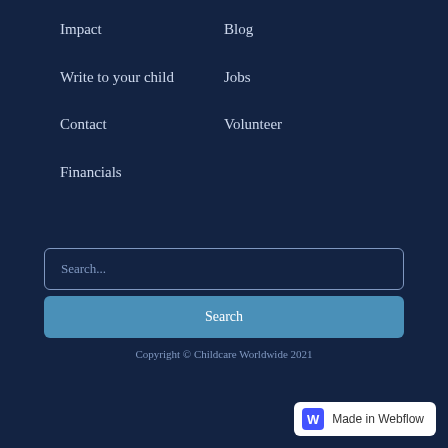Impact
Write to your child
Contact
Financials
Blog
Jobs
Volunteer
Search...
Search
Copyright © Childcare Worldwide 2021
[Figure (logo): Made in Webflow badge with W logo]